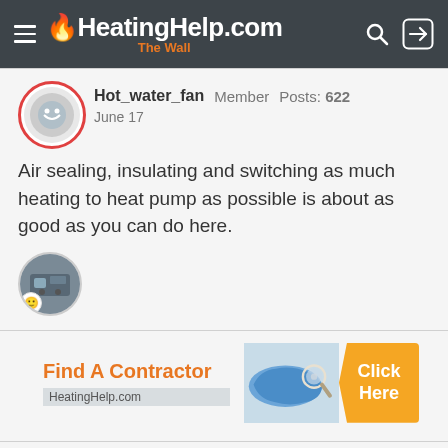HeatingHelp.com The Wall
Hot_water_fan  Member  Posts: 622
June 17
Air sealing, insulating and switching as much heating to heat pump as possible is about as good as you can do here.
[Figure (photo): Small circular avatar thumbnail showing a mechanical/HVAC component, with a smiley emoji reaction badge overlay]
[Figure (infographic): Find A Contractor advertisement banner for HeatingHelp.com with orange text, US map graphic, and yellow Click Here button]